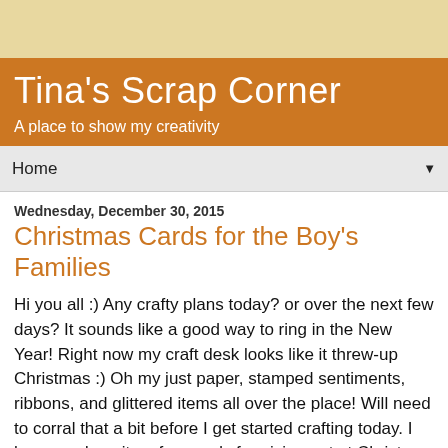Tina's Scrap Corner — A place to show my creativity
Home ▼
Wednesday, December 30, 2015
Christmas Cards for the Boy's Families
Hi you all :) Any crafty plans today? or over the next few days? It sounds like a good way to ring in the New Year! Right now my craft desk looks like it threw-up Christmas :) Oh my just paper, stamped sentiments, ribbons, and glittered items all over the place! Will need to corral that a bit before I get started crafting today. I have made quite a few cards for giving out at Christmas time this year and quite a few more this month as I found out I didn't have near enough made. So that will be a focus for next year and a goal that I atleast get one done a month and work on them during Christmas in